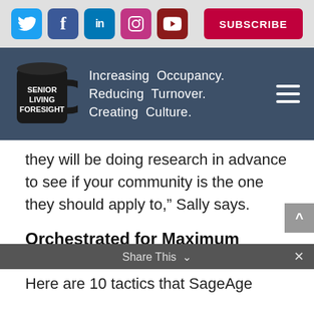[Figure (infographic): Social media icons bar with Twitter (blue), Facebook (dark blue), LinkedIn (blue), Instagram (pink/magenta), YouTube (dark red) icons and a SUBSCRIBE button in crimson red]
[Figure (logo): Senior Living Foresight logo: black mug with white text 'SENIOR LIVING FORESIGHT' beside tagline 'Increasing Occupancy. Reducing Turnover. Creating Culture.' on slate blue background with hamburger menu icon]
they will be doing research in advance to see if your community is the one they should apply to,” Sally says.
Orchestrated for Maximum Results
Here are 10 tactics that SageAge